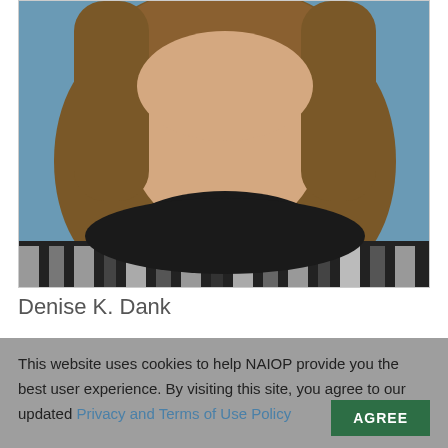[Figure (photo): Headshot portrait of Denise K. Dank, a woman with short brown hair wearing a striped black and grey top with a dark collar, photographed against a blue background.]
Denise K. Dank
This website uses cookies to help NAIOP provide you the best user experience. By visiting this site, you agree to our updated Privacy and Terms of Use Policy